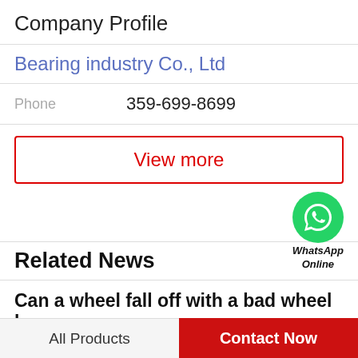Company Profile
Bearing industry Co., Ltd
Phone   359-699-8699
View more
[Figure (logo): WhatsApp green circle icon with phone handset, labeled 'WhatsApp Online']
Related News
Can a wheel fall off with a bad wheel b...
Will my wheel fall off?!? - Honda-Tech - Honda ForumHonda-Tech Member. Re: Will my wheel fall off?!? (The Flying Dutchmen). i was driving on bad
All Products   Contact Now